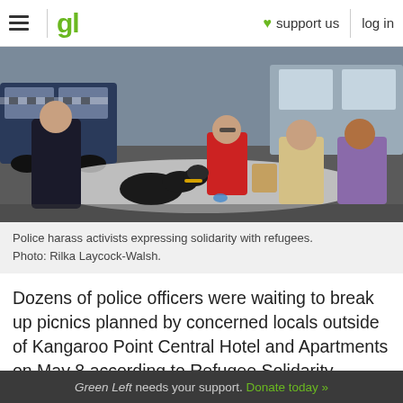gl  ♥ support us  log in
[Figure (photo): Police officer and people sitting on the ground during a protest; a dog is visible in the foreground. Photo by Rilka Laycock-Walsh.]
Police harass activists expressing solidarity with refugees. Photo: Rilka Laycock-Walsh.
Dozens of police officers were waiting to break up picnics planned by concerned locals outside of Kangaroo Point Central Hotel and Apartments on May 8 according to Refugee Solidarity Meanjin.
The safe picnics were in response to the silent protest by more than 120 detainees on the
Green Left needs your support. Donate today »